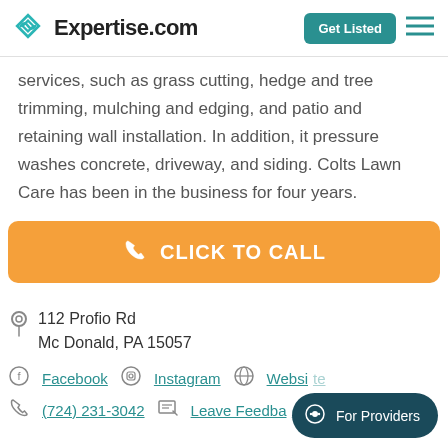Expertise.com | Get Listed
services, such as grass cutting, hedge and tree trimming, mulching and edging, and patio and retaining wall installation. In addition, it pressure washes concrete, driveway, and siding. Colts Lawn Care has been in the business for four years.
CLICK TO CALL
112 Profio Rd
Mc Donald, PA 15057
Facebook  Instagram  Website
(724) 231-3042  Leave Feedback